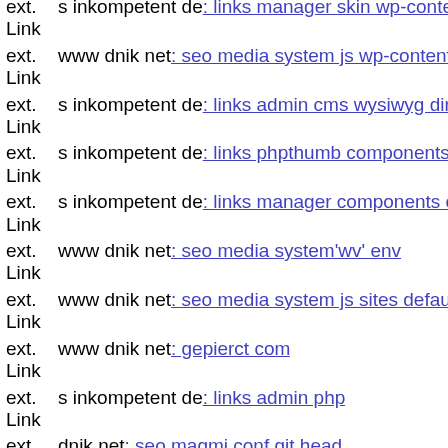ext. Link s inkompetent de: links manager skin wp-content plugins wp-...
ext. Link www dnik net: seo media system js wp-content plugins wp-file...
ext. Link s inkompetent de: links admin cms wysiwyg directive
ext. Link s inkompetent de: links phpthumb components com b2jcontact
ext. Link s inkompetent de: links manager components com foxcontact i...
ext. Link www dnik net: seo media system'wv' env
ext. Link www dnik net: seo media system js sites default files media sys...
ext. Link www dnik net: gepierct com
ext. Link s inkompetent de: links admin php
ext. Link dnik net: seo magmi conf git head
ext. Link dnik net: seo media system js includes wp-includes seo media s...
ext. Link dnik net: seo wordpress dnik net